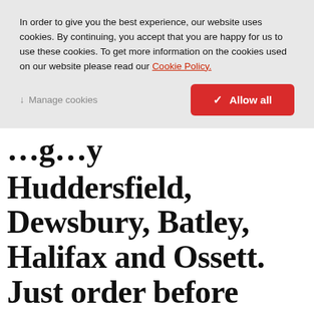In order to give you the best experience, our website uses cookies. By continuing, you accept that you are happy for us to use these cookies. To get more information on the cookies used on our website please read our Cookie Policy.
Manage cookies | Allow all
Huddersfield, Dewsbury, Batley, Halifax and Ossett. Just order before 11:00am (Mon-Fri) to take advantage. Prices